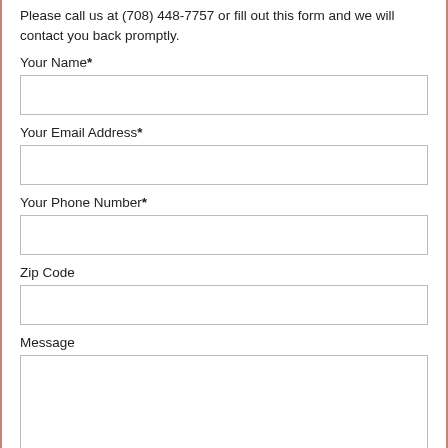Please call us at (708) 448-7757 or fill out this form and we will contact you back promptly.
Your Name*
Your Email Address*
Your Phone Number*
Zip Code
Message